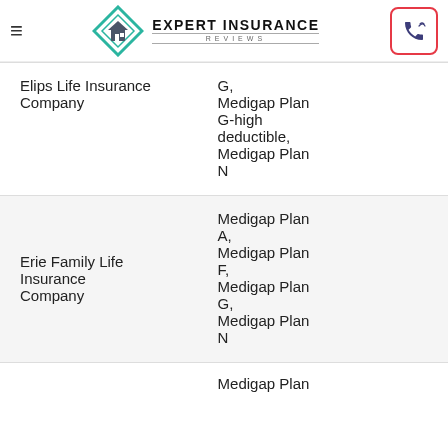Expert Insurance Reviews
| Company | Plans |
| --- | --- |
| Elips Life Insurance Company | G, Medigap Plan G-high deductible, Medigap Plan N |
| Erie Family Life Insurance Company | Medigap Plan A, Medigap Plan F, Medigap Plan G, Medigap Plan N |
|  | Medigap Plan |